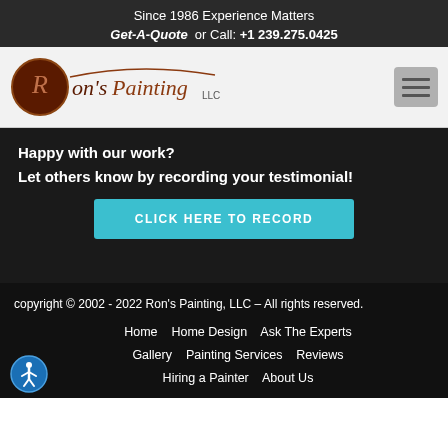Since 1986 Experience Matters
Get-A-Quote or Call: +1 239.275.0425
[Figure (logo): Ron's Painting LLC logo with decorative script lettering and oval emblem]
Happy with our work?
Let others know by recording your testimonial!
CLICK HERE TO RECORD
copyright © 2002 - 2022 Ron's Painting, LLC – All rights reserved.
Home   Home Design   Ask The Experts   Gallery   Painting Services   Reviews   Hiring a Painter   About Us